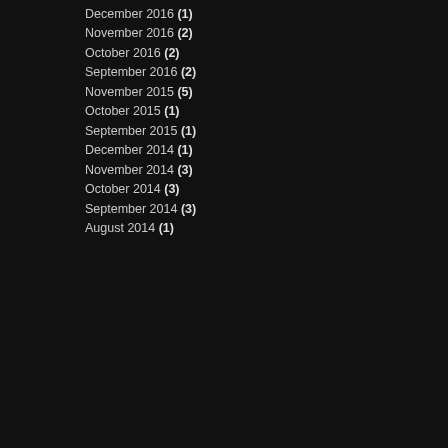December 2016 (1)
November 2016 (2)
October 2016 (2)
September 2016 (2)
November 2015 (5)
October 2015 (1)
September 2015 (1)
December 2014 (1)
November 2014 (3)
October 2014 (3)
September 2014 (3)
August 2014 (1)
FATDOG YEARS PAST
[Figure (photo): A tabletop miniature wargame scene showing ancient Roman-style buildings with columns, small figurines of soldiers, horses pulling chariots, and red dice on a wooden table surface. The photo is displayed within a dark rounded-corner tablet frame.]